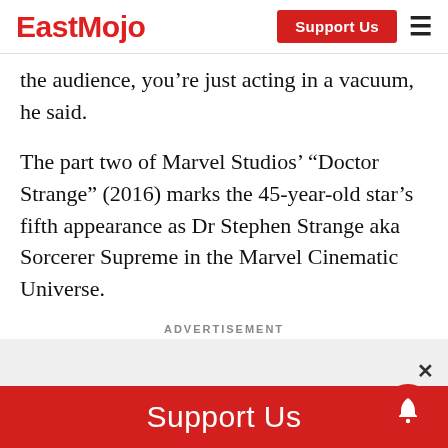EastMojo | Support Us
the audience, you’re just acting in a vacuum, he said.
The part two of Marvel Studios’ “Doctor Strange” (2016) marks the 45-year-old star’s fifth appearance as Dr Stephen Strange aka Sorcerer Supreme in the Marvel Cinematic Universe.
ADVERTISEMENT
[Figure (other): EastMojo website advertisement banner with Support Us button and notification bell icon]
Support Us